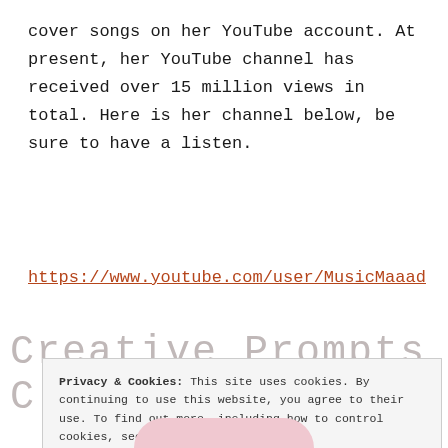cover songs on her YouTube account. At present, her YouTube channel has received over 15 million views in total. Here is her channel below, be sure to have a listen.
https://www.youtube.com/user/MusicMaaad
Creative Prompts and
C
Privacy & Cookies: This site uses cookies. By continuing to use this website, you agree to their use. To find out more, including how to control cookies, see here: Cookie Policy
Close and accept